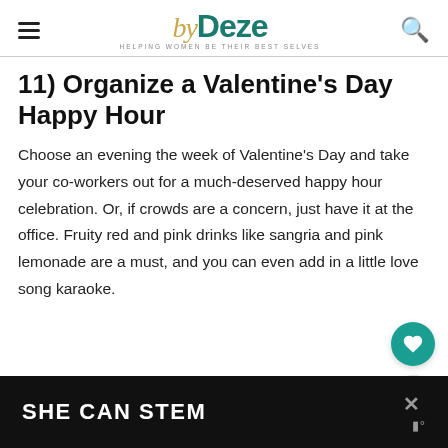byDeze — HELPING WOMEN BE THEIR BEST SELVES
11) Organize a Valentine's Day Happy Hour
Choose an evening the week of Valentine's Day and take your co-workers out for a much-deserved happy hour celebration. Or, if crowds are a concern, just have it at the office. Fruity red and pink drinks like sangria and pink lemonade are a must, and you can even add in a little love song karaoke.
SHE CAN STEM